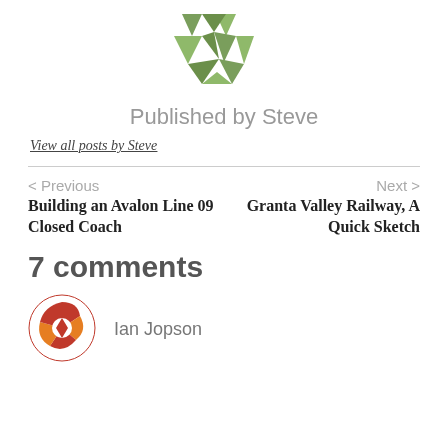[Figure (logo): Green geometric/polygonal fox or animal logo made of triangular shapes]
Published by Steve
View all posts by Steve
< Previous
Next >
Building an Avalon Line 09 Closed Coach
Granta Valley Railway, A Quick Sketch
7 comments
[Figure (logo): Circular orange geometric/pinwheel logo for Ian Jopson commenter avatar]
Ian Jopson